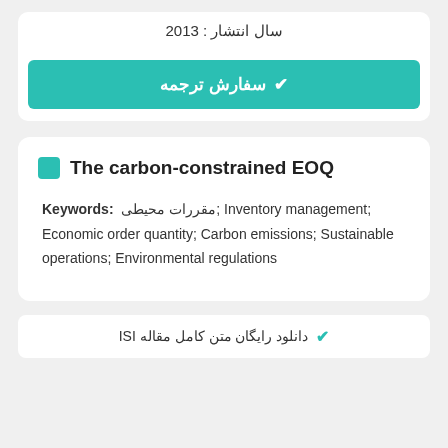سال انتشار : 2013
✔ سفارش ترجمه
The carbon-constrained EOQ
Keywords: مقررات محیطی; Inventory management; Economic order quantity; Carbon emissions; Sustainable operations; Environmental regulations
✔ دانلود رایگان متن کامل مقاله ISI